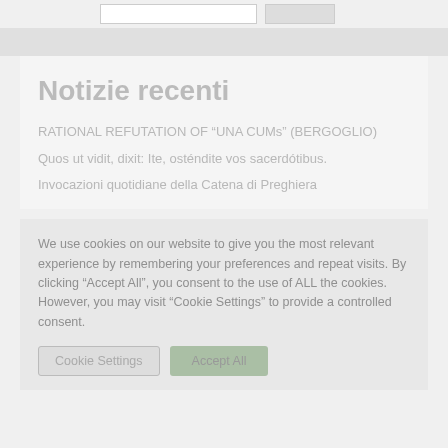Notizie recenti
RATIONAL REFUTATION OF “UNA CUMs” (BERGOGLIO)
Quos ut vidit, dixit: Ite, osténdite vos sacerdótibus.
Invocazioni quotidiane della Catena di Preghiera
We use cookies on our website to give you the most relevant experience by remembering your preferences and repeat visits. By clicking “Accept All”, you consent to the use of ALL the cookies. However, you may visit “Cookie Settings” to provide a controlled consent.